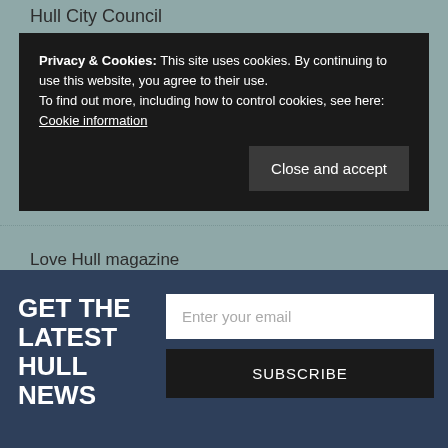Hull City Council
Privacy & Cookies: This site uses cookies. By continuing to use this website, you agree to their use.
To find out more, including how to control cookies, see here: Cookie information
Close and accept
Love Hull magazine
My Hull Maps
GET THE LATEST HULL NEWS
Enter your email
SUBSCRIBE